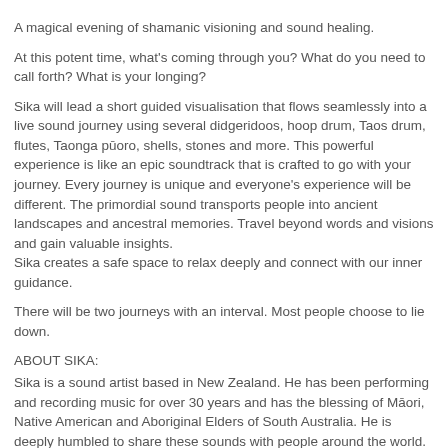A magical evening of shamanic visioning and sound healing.
At this potent time, what's coming through you? What do you need to call forth? What is your longing?
Sika will lead a short guided visualisation that flows seamlessly into a live sound journey using several didgeridoos, hoop drum, Taos drum, flutes, Taonga pūoro, shells, stones and more. This powerful experience is like an epic soundtrack that is crafted to go with your journey. Every journey is unique and everyone's experience will be different. The primordial sound transports people into ancient landscapes and ancestral memories. Travel beyond words and visions and gain valuable insights.
Sika creates a safe space to relax deeply and connect with our inner guidance.
There will be two journeys with an interval. Most people choose to lie down.
ABOUT SIKA:
Sika is a sound artist based in New Zealand. He has been performing and recording music for over 30 years and has the blessing of Māori, Native American and Aboriginal Elders of South Australia. He is deeply humbled to share these sounds with people around the world.
WHAT TO BRING?
Please bring a yoga mat, blanket, pillow or anything else you need to sit or lie comfortably. Also recommend a water bottle and a journal.